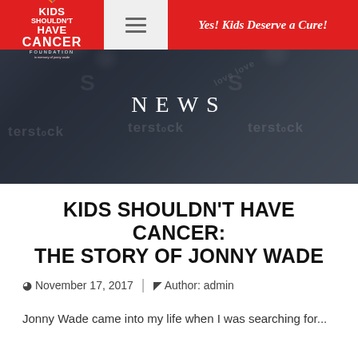Kids Shouldn't Have Cancer Foundation | Yes! Kids Deserve a Cure!
[Figure (photo): Dark blurred background photo of children with watermark text, overlaid with NEWS heading in white letters]
KIDS SHOULDN'T HAVE CANCER: THE STORY OF JONNY WADE
November 17, 2017 | Author: admin
Jonny Wade came into my life when I was searching for...